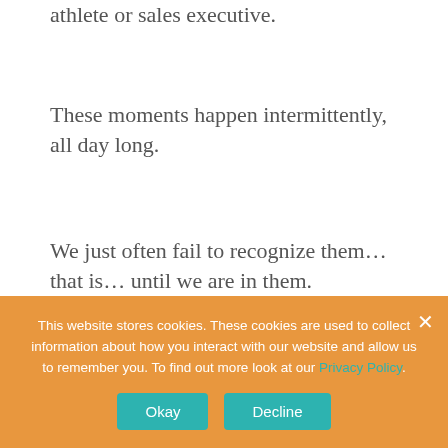athlete or sales executive.
These moments happen intermittently, all day long.
We just often fail to recognize them… that is… until we are in them.
When this moment comes, are you prepared?
The purpose of this article is not to – in any way – bash the benefits of mental preparation
This website stores cookies. These cookies are used to collect information about how you interact with our website and allow us to remember you. To find out more look at our Privacy Policy.